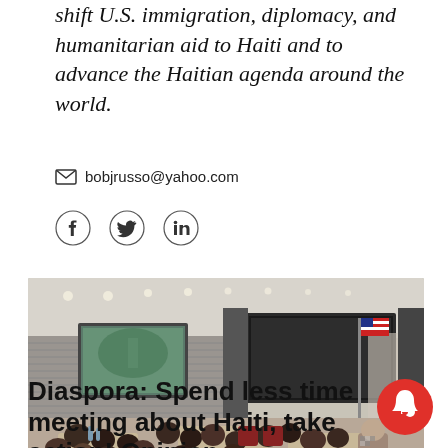shift U.S. immigration, diplomacy, and humanitarian aid to Haiti and to advance the Haitian agenda around the world.
bobjrusso@yahoo.com
[Figure (photo): Conference room with a large group of attendees seated at round tables, projection screens displaying images, an American flag visible at the right side of the room.]
Diaspora: Spend less time meeting about Haiti, take action! Opinion